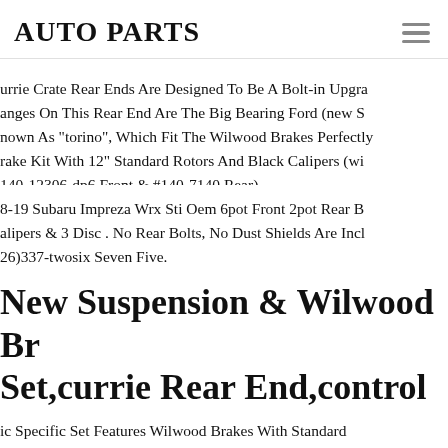AUTO PARTS
urrie Crate Rear Ends Are Designed To Be A Bolt-in Upgra anges On This Rear End Are The Big Bearing Ford (new s nown As "torino", Which Fit The Wilwood Brakes Perfectly rake Kit With 12" Standard Rotors And Black Calipers (wi 140-12306-dp6 Front & #140-7140 Rear).
8-19 Subaru Impreza Wrx Sti Oem 6pot Front 2pot Rear B alipers & 3 Disc . No Rear Bolts, No Dust Shields Are Incl 26)337-twosix Seven Five.
New Suspension & Wilwood Br Set,currie Rear End,control Ar Gear,596432
ic Specific Set Features Wilwood Brakes With Standard